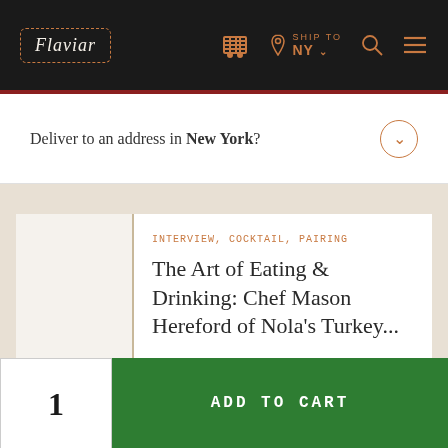Flaviar — SHIP TO NY
Deliver to an address in New York?
INTERVIEW, COCKTAIL, PAIRING
The Art of Eating & Drinking: Chef Mason Hereford of Nola's Turkey...
IRISH WHISKEY, CASK STRENGHT, NAVY STRENGTH
1
ADD TO CART